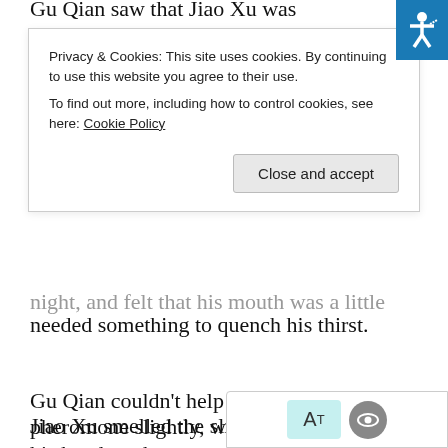Gu Qian saw that Jiao Xu was surprised and opened [cut off top]
Privacy & Cookies: This site uses cookies. By continuing to use this website you agree to their use. To find out more, including how to control cookies, see here: Cookie Policy
Close and accept
night, and felt that his mouth was a little dry and he needed something to quench his thirst.
Gu Qian couldn't help but release his pheromone slightly, walk up to Jiao Xu, put his hand on the armrest of the chair, and forcibly pull Jiao Xu into his arms.
Jiao Xu smelled the slight pheromone in the air, and felt inexplicably relieved. However, seeing beautiful face getting closer and closer to him, Jiao [cut off bottom]